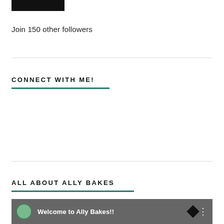[Figure (other): Black rectangle button at top]
Join 150 other followers
CONNECT WITH ME!
ALL ABOUT ALLY BAKES
[Figure (screenshot): Video thumbnail showing a woman with text 'Welcome to Ally Bakes!!' and a three-dot menu icon on a dark background]